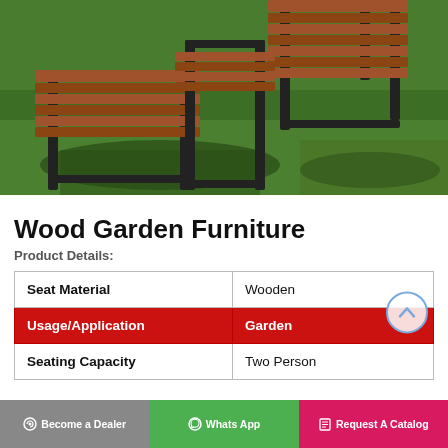[Figure (photo): Outdoor wood and metal garden benches/furniture set on green grass, viewed from above at an angle. Wooden slat seats with dark metal frames.]
Wood Garden Furniture
Product Details:
| Seat Material | Wooden |
| Usage/Application | Garden |
| Seating Capacity | Two Person |
Become a Dealer  Whats App  Request A Catalog